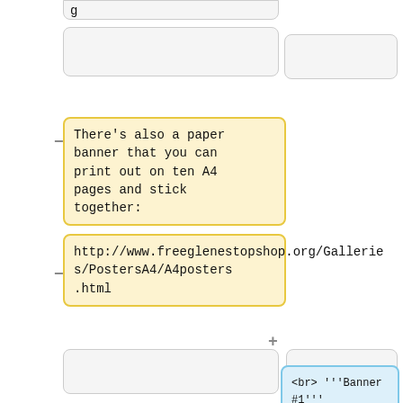g
There's also a paper banner that you can print out on ten A4 pages and stick together:
http://www.freeglenestopshop.org/Galleries/PostersA4/A4posters.html
<br> '''Banner #1''' cloth [[Image:FreegleBanner1.png|border|400px|Banner #1]] PDF file: [[Media:FreegleBanner1